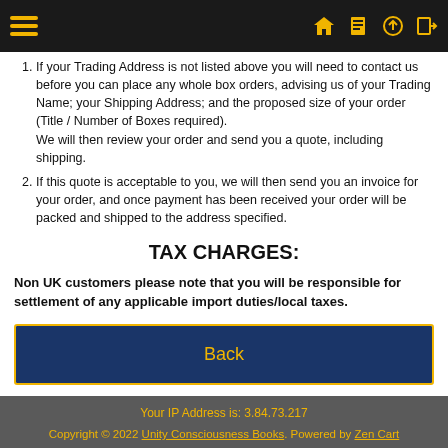Navigation bar with hamburger menu and icons
If your Trading Address is not listed above you will need to contact us before you can place any whole box orders, advising us of your Trading Name; your Shipping Address; and the proposed size of your order (Title / Number of Boxes required). We will then review your order and send you a quote, including shipping.
If this quote is acceptable to you, we will then send you an invoice for your order, and once payment has been received your order will be packed and shipped to the address specified.
TAX CHARGES:
Non UK customers please note that you will be responsible for settlement of any applicable import duties/local taxes.
Back
Your IP Address is: 3.84.73.217
Copyright © 2022 Unity Consciousness Books. Powered by Zen Cart